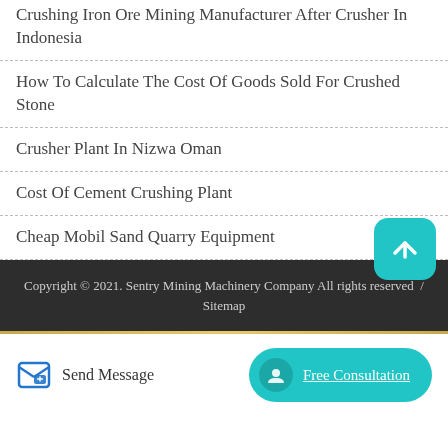Crushing Iron Ore Mining Manufacturer After Crusher In Indonesia
How To Calculate The Cost Of Goods Sold For Crushed Stone
Crusher Plant In Nizwa Oman
Cost Of Cement Crushing Plant
Cheap Mobil Sand Quarry Equipment
Copyright © 2021. Sentry Mining Machinery Company All rights reserved  /  Sitemap
Send Message
Free Consultation